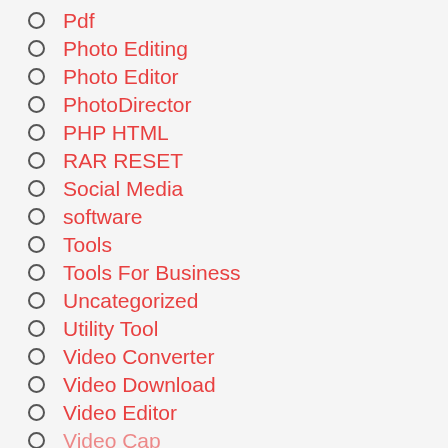Pdf
Photo Editing
Photo Editor
PhotoDirector
PHP HTML
RAR RESET
Social Media
software
Tools
Tools For Business
Uncategorized
Utility Tool
Video Converter
Video Download
Video Editor
Video Capture